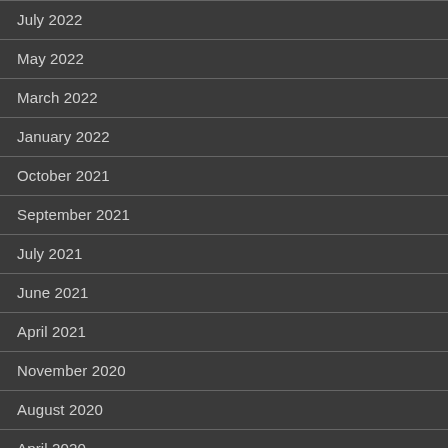July 2022
May 2022
March 2022
January 2022
October 2021
September 2021
July 2021
June 2021
April 2021
November 2020
August 2020
April 2020
March 2020